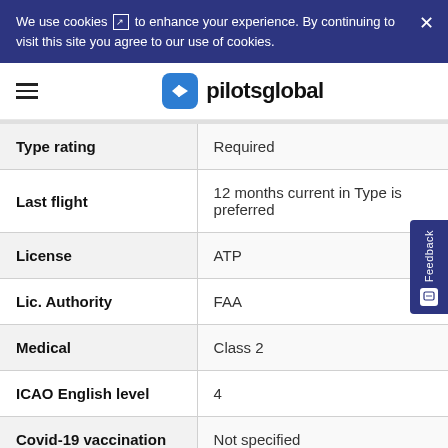We use cookies to enhance your experience. By continuing to visit this site you agree to our use of cookies.
[Figure (logo): pilotsglobal logo with airplane icon]
| Field | Value |
| --- | --- |
| Type rating | Required |
| Last flight | 12 months current in Type is preferred |
| License | ATP |
| Lic. Authority | FAA |
| Medical | Class 2 |
| ICAO English level | 4 |
| Covid-19 vaccination | Not specified |